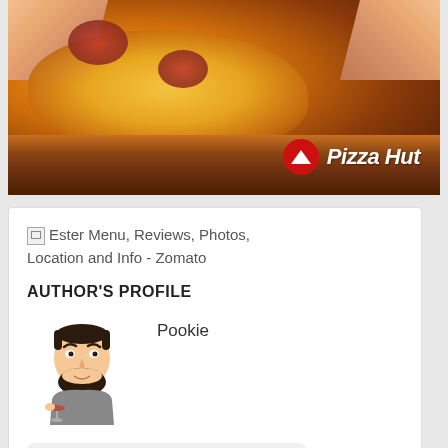[Figure (photo): Pizza Hut advertisement banner showing a cheesy pizza being pulled apart with melting cheese, with the Pizza Hut logo (red circle with hat icon) and 'Pizza Hut' text in white italic font on the right side]
Ester Menu, Reviews, Photos, Location and Info - Zomato
AUTHOR'S PROFILE
[Figure (illustration): Cartoon avatar illustration of a bearded man holding a wine glass]
Pookie
Pragmatic wine guy.